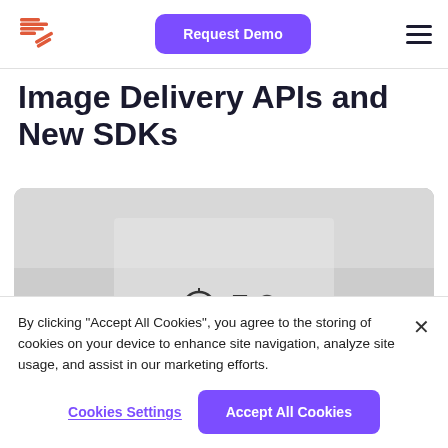Request Demo
Image Delivery APIs and New SDKs
[Figure (photo): Person wearing a white shirt with technology icons printed on it, blurred close-up shot]
By clicking “Accept All Cookies”, you agree to the storing of cookies on your device to enhance site navigation, analyze site usage, and assist in our marketing efforts.
Cookies Settings
Accept All Cookies